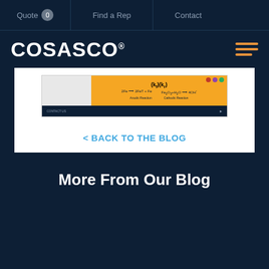Quote 0  Find a Rep  Contact
[Figure (logo): COSASCO logo with hamburger menu icon]
[Figure (screenshot): Screenshot of a chemical reaction diagram with orange header showing formulas and reactions, followed by a dark navigation footer bar]
< BACK TO THE BLOG
More From Our Blog